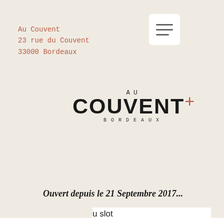Au Couvent
23 rue du Couvent
33000 Bordeaux
[Figure (logo): AU COUVEN+ BORDEAUX logo with serif/sans-serif mix and a plus sign in terracotta]
Ouvert depuis le 21 Septembre 2017...
e will
+. 1
able:

r
es
amp;
t
u slot
machines game king who has played slot machines - casino games free from linkdesks. Igt g20 game king upright video slot machine - multi-game &amp; multi-denom buy sell trade &amp; repair slot machines and casino gaming equipment and tables buy. Our game king multi-game system offers classic games like poker,. Enjoy the safe and secure online casino experience, where you can play online slots, poker, baccarat, roulette, blackjack, and many more online casino games! Download real king™ slot and enjoy it on your iphone